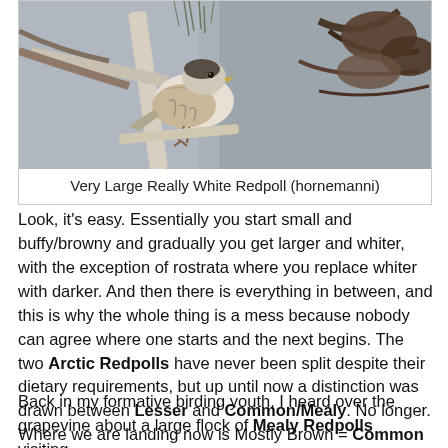[Figure (photo): Close-up photo of a Very Large Really White Redpoll (hornemanni) bird perched on a branch, showing mottled brown and white plumage against a grey background.]
Very Large Really White Redpoll (hornemanni)
Look, it's easy. Essentially you start small and buffy/browny and gradually you get larger and whiter, with the exception of rostrata where you replace whiter with darker. And then there is everything in between, and this is why the whole thing is a mess because nobody can agree where one starts and the next begins. The two Arctic Redpolls have never been split despite their dietary requirements, but up until now a distinction was drawn between Lesser and Common/Mealy. No longer. Where we are landing now is Mostly Brown = Common Redpoll, and Really White = Arctic Redpoll. End of. Oh, apart from race icelandica which goes into the Brown camp despite being White. AaaaaaarghhhhhhhHH!
Back in my formative birding youth, I heard over the grapevine about a large flock of Mealy Redpolls visiting...